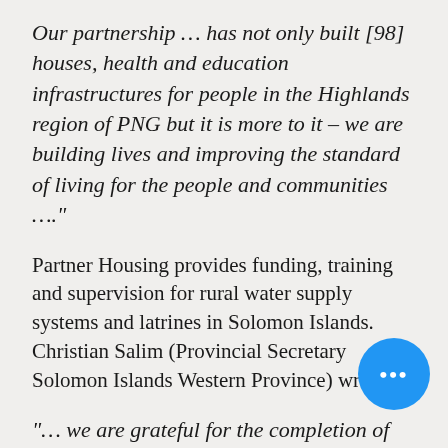Our partnership … has not only built [98] houses, health and education infrastructures for people in the Highlands region of PNG but it is more to it – we are building lives and improving the standard of living for the people and communities ….”
Partner Housing provides funding, training and supervision for rural water supply systems and latrines in Solomon Islands. Christian Salim (Provincial Secretary Solomon Islands Western Province) wrote:
“… we are grateful for the completion of water supplies in Keigold, Buri, Koriovuku, Obo… and Lale as well as 120 latrines